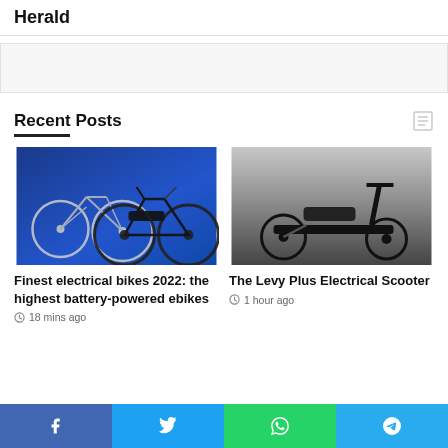Herald
[Figure (other): Advertisement banner placeholder]
Recent Posts
[Figure (photo): Two electric bikes on blue background - featuring a Cannondale road bike and a black urban e-bike]
Finest electrical bikes 2022: the highest battery-powered ebikes
18 mins ago
[Figure (photo): Levy Plus electric scooter on grey background, black and minimalist design]
The Levy Plus Electrical Scooter
1 hour ago